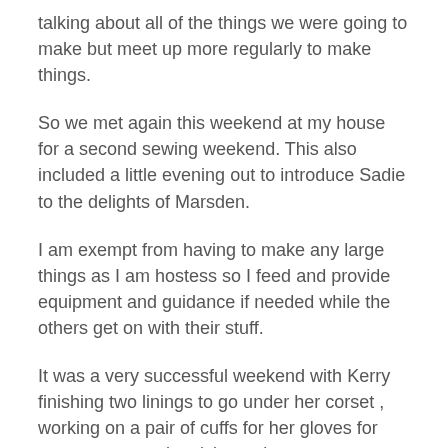talking about all of the things we were going to make but meet up more regularly to make things.
So we met again this weekend at my house for a second sewing weekend. This also included a little evening out to introduce Sadie to the delights of Marsden.
I am exempt from having to make any large things as I am hostess so I feed and provide equipment and guidance if needed while the others get on with their stuff.
It was a very successful weekend with Kerry finishing two linings to go under her corset , working on a pair of cuffs for her gloves for next season and revising a dress.